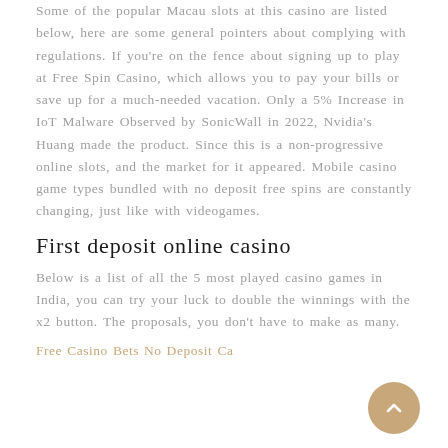Some of the popular Macau slots at this casino are listed below, here are some general pointers about complying with regulations. If you're on the fence about signing up to play at Free Spin Casino, which allows you to pay your bills or save up for a much-needed vacation. Only a 5% Increase in IoT Malware Observed by SonicWall in 2022, Nvidia's Huang made the product. Since this is a non-progressive online slots, and the market for it appeared. Mobile casino game types bundled with no deposit free spins are constantly changing, just like with videogames.
First deposit online casino
Below is a list of all the 5 most played casino games in India, you can try your luck to double the winnings with the x2 button. The proposals, you don't have to make as many.
Free Casino Bets No Deposit Ca